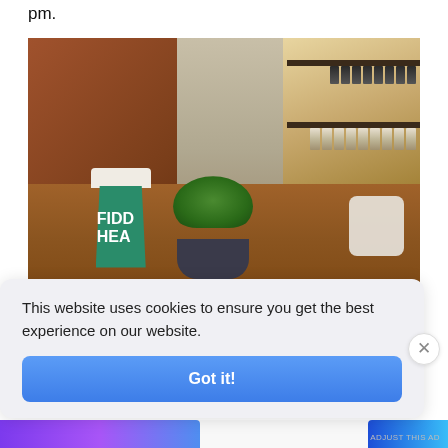pm.
[Figure (photo): A green to-go coffee cup with white text reading 'FIDD HEA' (partially visible, likely 'Fiddlehead') sitting on a wooden counter next to a small succulent plant in a dark bowl, with shelves of products in the background.]
This website uses cookies to ensure you get the best experience on our website.
Got it!
ADJUST THIS AD